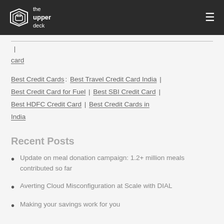the upper deck
card
Best Credit Cards: Best Travel Credit Card India | Best Credit Card for Fuel | Best SBI Credit Card | Best HDFC Credit Card | Best Credit Cards in India
Recent Posts
Update on meal donation campaign: 1.2+ million meals contributed so far
Averting Cloud Misconfiguration at Scale with DIAL
Making your savings work for you